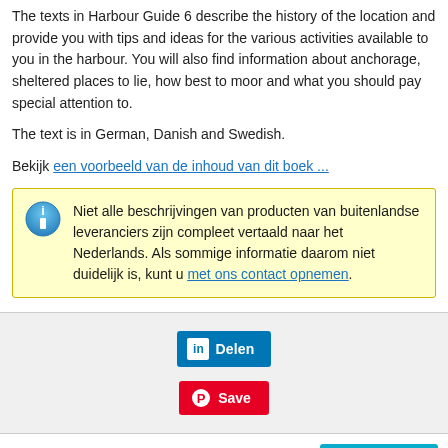The texts in Harbour Guide 6 describe the history of the location and provide you with tips and ideas for the various activities available to you in the harbour. You will also find information about anchorage, sheltered places to lie, how best to moor and what you should pay special attention to.
The text is in German, Danish and Swedish.
Bekijk een voorbeeld van de inhoud van dit boek ...
Niet alle beschrijvingen van producten van buitenlandse leveranciers zijn compleet vertaald naar het Nederlands. Als sommige informatie daarom niet duidelijk is, kunt u met ons contact opnemen.
[Figure (screenshot): LinkedIn Delen (Share) button]
[Figure (screenshot): Pinterest Save button]
In winkelwag
« Vorige | Volgende »